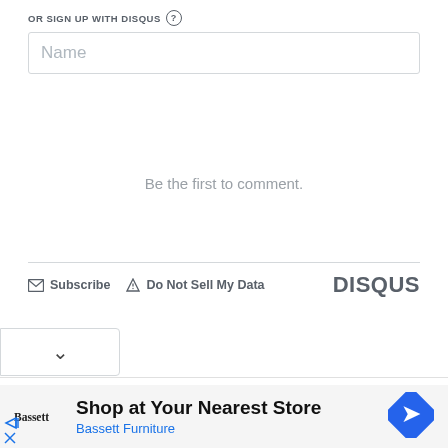OR SIGN UP WITH DISQUS ?
Name
Be the first to comment.
Subscribe   Do Not Sell My Data   DISQUS
[Figure (screenshot): Collapse chevron button (v)]
[Figure (infographic): Advertisement: Shop at Your Nearest Store - Bassett Furniture, with Bassett logo and direction sign icon]